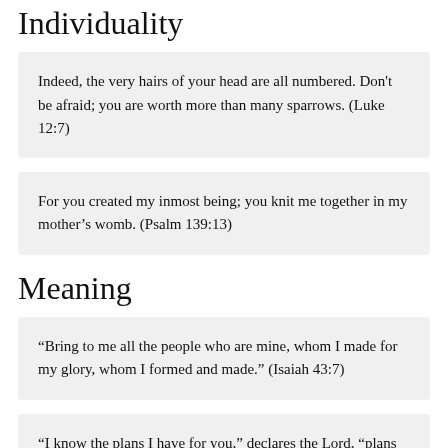Individuality
Indeed, the very hairs of your head are all numbered. Don't be afraid; you are worth more than many sparrows. (Luke 12:7)
For you created my inmost being; you knit me together in my mother's womb. (Psalm 139:13)
Meaning
“Bring to me all the people who are mine, whom I made for my glory, whom I formed and made.” (Isaiah 43:7)
“I know the plans I have for you,” declares the Lord, “plans for welfare and not for evil, to give you a future